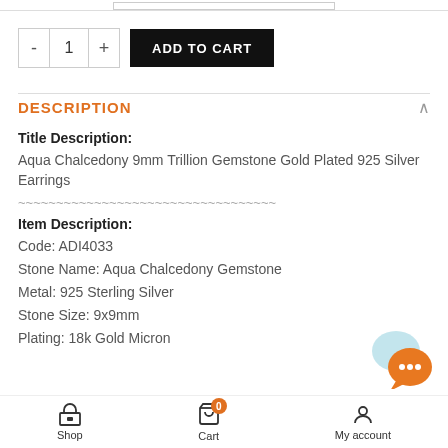[Figure (screenshot): Add to cart row with quantity selector showing minus button, 1, plus button, and black ADD TO CART button]
DESCRIPTION
Title Description:
Aqua Chalcedony 9mm Trillion Gemstone Gold Plated 925 Silver Earrings
Item Description:
Code: ADI4033
Stone Name: Aqua Chalcedony Gemstone
Metal: 925 Sterling Silver
Stone Size: 9x9mm
Plating: 18k Gold Micron
Shop  Cart  My account